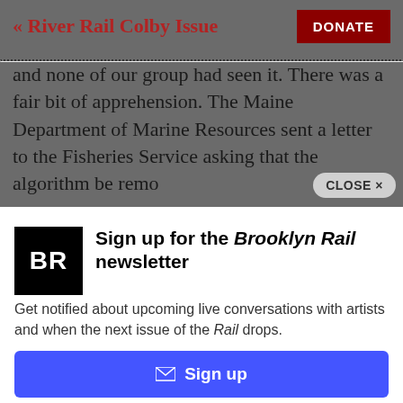« River Rail Colby Issue | DONATE
and none of our group had seen it. There was a fair bit of apprehension. The Maine Department of Marine Resources sent a letter to the Fisheries Service asking that the algorithm be remo
CLOSE ×
[Figure (logo): Brooklyn Rail BR logo — black square with white bold letters BR]
Sign up for the Brooklyn Rail newsletter
Get notified about upcoming live conversations with artists and when the next issue of the Rail drops.
✉ Sign up